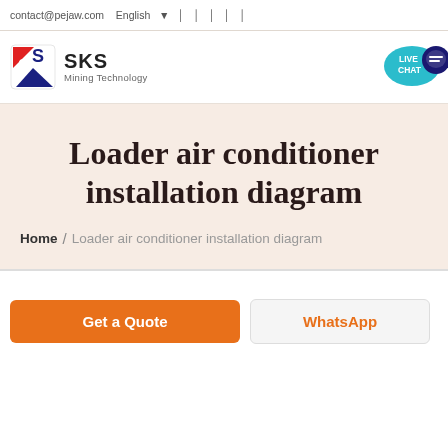contact@pejaw.com   English
[Figure (logo): SKS Mining Technology logo with red and blue shield icon, company name SKS in bold, subtitle Mining Technology]
[Figure (illustration): Live Chat speech bubble badge in teal with dark blue chat icon]
Loader air conditioner installation diagram
Home / Loader air conditioner installation diagram
Get a Quote
WhatsApp